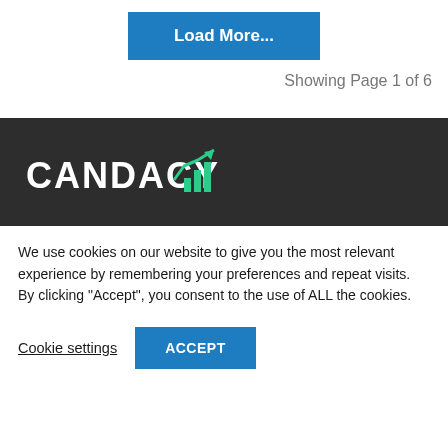Load More...
Showing Page 1 of 6
[Figure (logo): Candacy logo with white text and green bar chart with upward arrow on dark background]
We use cookies on our website to give you the most relevant experience by remembering your preferences and repeat visits. By clicking “Accept”, you consent to the use of ALL the cookies.
Cookie settings
ACCEPT